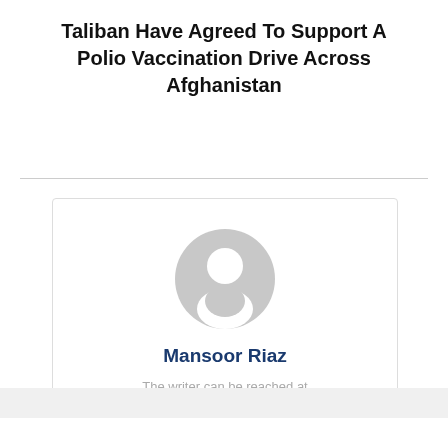Taliban Have Agreed To Support A Polio Vaccination Drive Across Afghanistan
[Figure (illustration): Generic user avatar silhouette in gray, showing head and shoulders as a placeholder profile image]
Mansoor Riaz
The writer can be reached at mansard2020@gmail.com